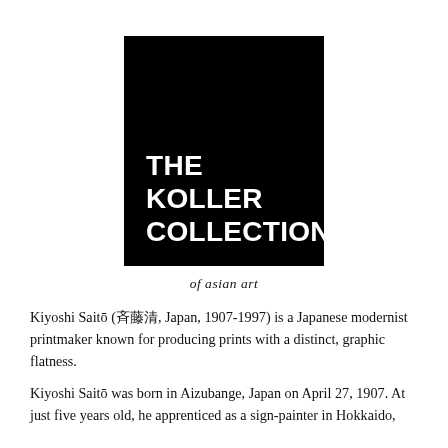[Figure (logo): The Koller Collection black square logo with white bold text reading THE KOLLER COLLECTION]
of asian art
Kiyoshi Saitō (斎藤清, Japan, 1907-1997) is a Japanese modernist printmaker known for producing prints with a distinct, graphic flatness.
Kiyoshi Saitō was born in Aizubange, Japan on April 27, 1907. At just five years old, he apprenticed as a sign-painter in Hokkaido,